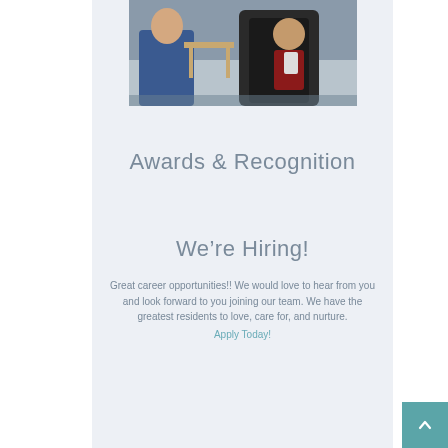[Figure (photo): Two people sitting in a room, one in a recliner chair holding a phone/cup, another partially visible on the left side]
Awards & Recognition
We're Hiring!
Great career opportunities!! We would love to hear from you and look forward to you joining our team. We have the greatest residents to love, care for, and nurture. Apply Today!